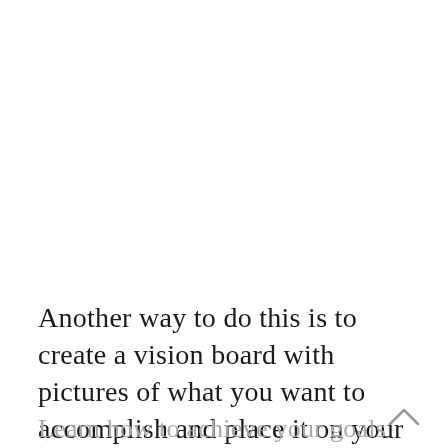Another way to do this is to create a vision board with pictures of what you want to accomplish and place it on your wall or on your phone where you will see it every day
.
Learn how to achieve your goals with the Goal setting guide and workbook by all